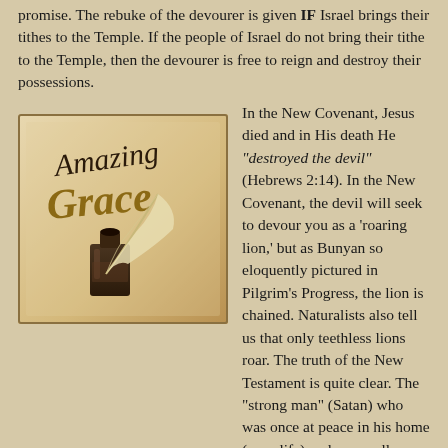promise. The rebuke of the devourer is given IF Israel brings their tithes to the Temple. If the people of Israel do not bring their tithe to the Temple, then the devourer is free to reign and destroy their possessions.
[Figure (illustration): An 'Amazing Grace' graphic showing a dark ink bottle and feather quill pen on a light parchment background, with stylized calligraphy text reading 'Amazing Grace'.]
In the New Covenant, Jesus died and in His death He "destroyed the devil" (Hebrews 2:14). In the New Covenant, the devil will seek to devour you as a 'roaring lion,' but as Bunyan so eloquently pictured in Pilgrim's Progress, the lion is chained. Naturalists also tell us that only teethless lions roar. The truth of the New Testament is quite clear. The "strong man" (Satan) who was once at peace in his home (your life) and was well armed, was